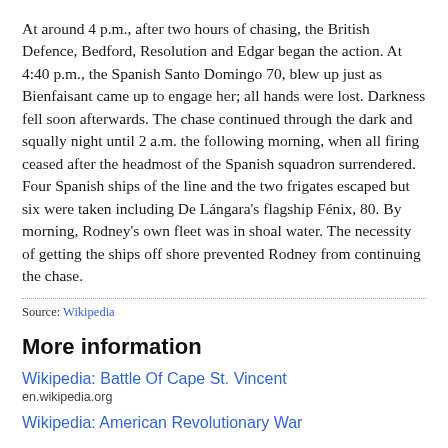At around 4 p.m., after two hours of chasing, the British Defence, Bedford, Resolution and Edgar began the action. At 4:40 p.m., the Spanish Santo Domingo 70, blew up just as Bienfaisant came up to engage her; all hands were lost. Darkness fell soon afterwards. The chase continued through the dark and squally night until 2 a.m. the following morning, when all firing ceased after the headmost of the Spanish squadron surrendered. Four Spanish ships of the line and the two frigates escaped but six were taken including De Lángara's flagship Fénix, 80. By morning, Rodney's own fleet was in shoal water. The necessity of getting the ships off shore prevented Rodney from continuing the chase.
Source: Wikipedia
More information
Wikipedia: Battle Of Cape St. Vincent
en.wikipedia.org
Wikipedia: American Revolutionary War